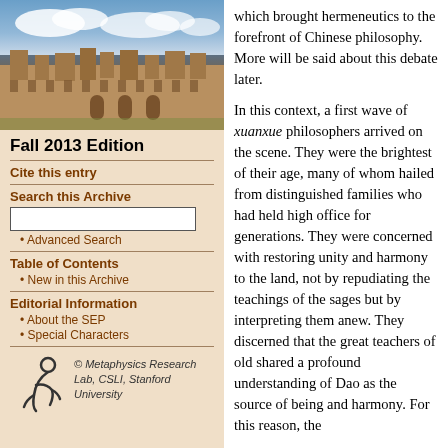[Figure (photo): Photograph of a stone university building (likely University of Sydney) with blue sky and clouds]
Fall 2013 Edition
Cite this entry
Search this Archive
Advanced Search
Table of Contents
New in this Archive
Editorial Information
About the SEP
Special Characters
[Figure (logo): Metaphysics Research Lab logo with stylized figure]
© Metaphysics Research Lab, CSLI, Stanford University
which brought hermeneutics to the forefront of Chinese philosophy. More will be said about this debate later.
In this context, a first wave of xuanxue philosophers arrived on the scene. They were the brightest of their age, many of whom hailed from distinguished families who had held high office for generations. They were concerned with restoring unity and harmony to the land, not by repudiating the teachings of the sages but by interpreting them anew. They discerned that the great teachers of old shared a profound understanding of Dao as the source of being and harmony. For this reason, the